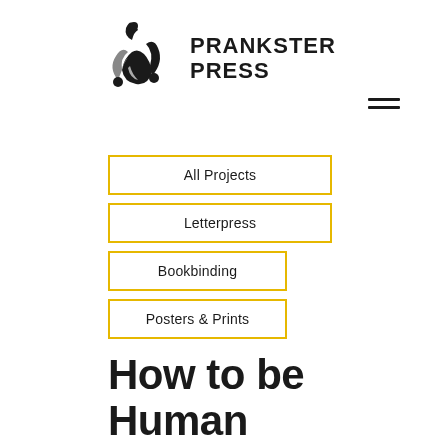[Figure (logo): Prankster Press jester hat logo icon in black and grey, with text PRANKSTER PRESS in bold uppercase]
[Figure (other): Hamburger menu icon (three horizontal lines)]
All Projects
Letterpress
Bookbinding
Posters & Prints
How to be Human